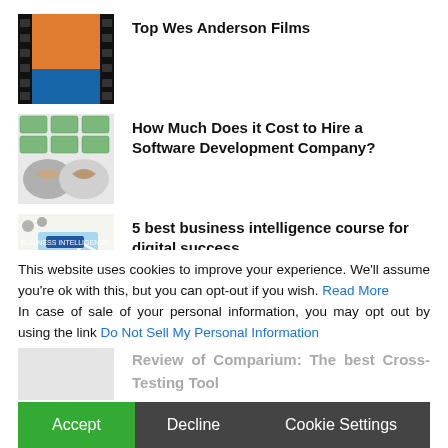Top Wes Anderson Films
How Much Does it Cost to Hire a Software Development Company?
5 best business intelligence course for digital success
Why is Social Listening Important?
This website uses cookies to improve your experience. We'll assume you're ok with this, but you can opt-out if you wish. Read More In case of sale of your personal information, you may opt out by using the link Do Not Sell My Personal Information
Review of Comparium: The best Cross-Testing Tool